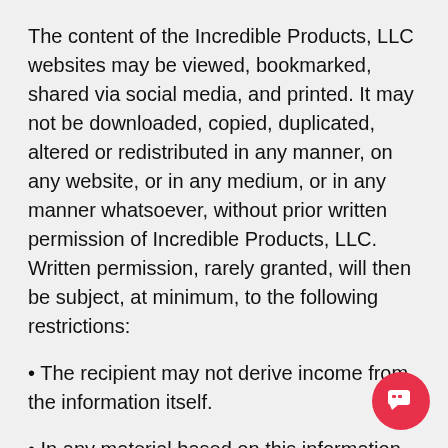The content of the Incredible Products, LLC websites may be viewed, bookmarked, shared via social media, and printed. It may not be downloaded, copied, duplicated, altered or redistributed in any manner, on any website, or in any medium, or in any manner whatsoever, without prior written permission of Incredible Products, LLC. Written permission, rarely granted, will then be subject, at minimum, to the following restrictions:
The recipient may not derive income from the information itself.
In any material based on this information, the recipient agrees to acknowledge the website or Incredible Products, LLC, including copyright notice and trademarks.
No modifications are made to materials.